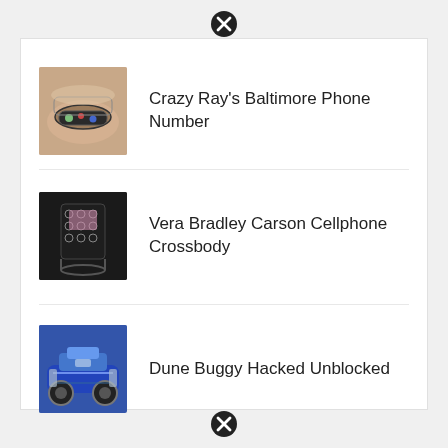[Figure (other): Close/X button icon at top center]
Crazy Ray's Baltimore Phone Number
Vera Bradley Carson Cellphone Crossbody
Dune Buggy Hacked Unblocked
[Figure (other): Close/X button icon at bottom center]